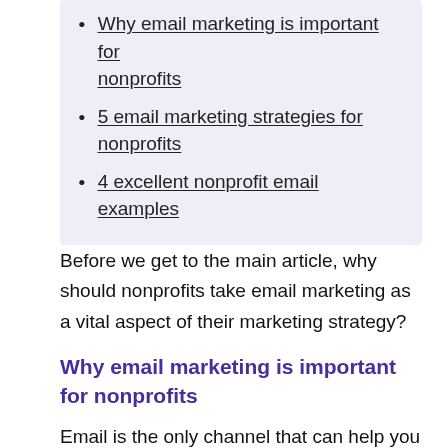Why email marketing is important for nonprofits
5 email marketing strategies for nonprofits
4 excellent nonprofit email examples
Before we get to the main article, why should nonprofits take email marketing as a vital aspect of their marketing strategy?
Why email marketing is important for nonprofits
Email is the only channel that can help you stay